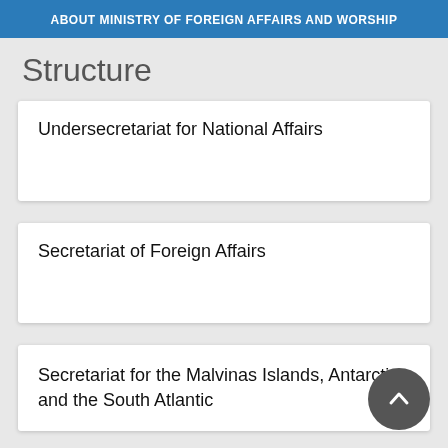ABOUT MINISTRY OF FOREIGN AFFAIRS AND WORSHIP
Structure
Undersecretariat for National Affairs
Secretariat of Foreign Affairs
Secretariat for the Malvinas Islands, Antarctica and the South Atlantic